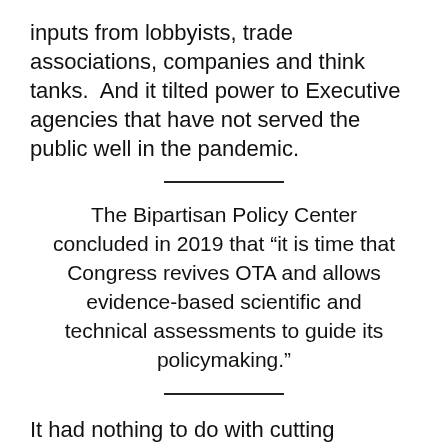inputs from lobbyists, trade associations, companies and think tanks.  And it tilted power to Executive agencies that have not served the public well in the pandemic.
The Bipartisan Policy Center concluded in 2019 that “it is time that Congress revives OTA and allows evidence-based scientific and technical assessments to guide its policymaking.”
It had nothing to do with cutting significant money from congressional spending on itself, about $3 billion at the time.  What rankled